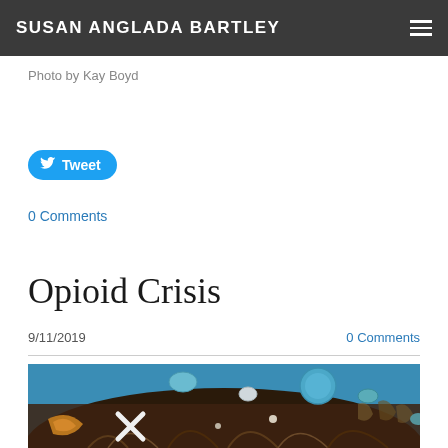SUSAN ANGLADA BARTLEY
Photo by Kay Boyd
[Figure (other): Tweet button (Twitter/X share button with bird icon)]
0 Comments
Opioid Crisis
9/11/2019
0 Comments
[Figure (photo): Close-up photo of a person's hair with blue circular objects and other items embedded in it, against a blue background — related to opioid crisis artwork by Kay Boyd]